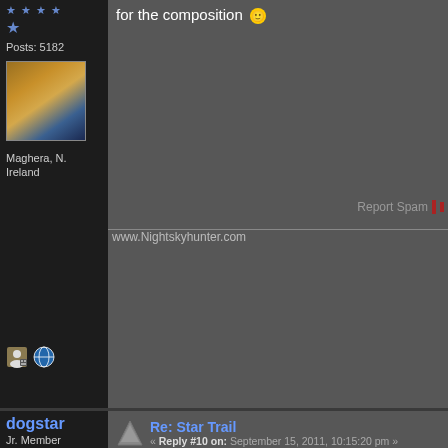for the composition
Posts: 5182
[Figure (photo): User avatar photo showing clouds with blue/gold tones]
Maghera, N. Ireland
Report Spam
www.Nightskyhunter.com
dogstar
Jr. Member
Posts: 70
[Figure (illustration): User avatar placeholder with page/document icon]
Re: Star Trail
« Reply #10 on: September 15, 2011, 10:15:20 pm »
Great star trail image Anton am i right in saying that you done very little if any processing, the reason i ask is that you captured a lot of faint stars that when brought out would really fill the trails out but fab image either way nice work
Report Spam
Declan McCormack
http://webtreatz.com/